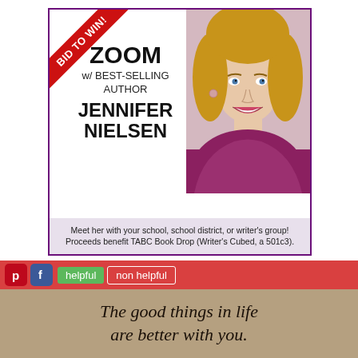[Figure (illustration): Advertisement box with red diagonal 'BID TO WIN!' banner, text 'ZOOM w/ BEST-SELLING AUTHOR JENNIFER NIELSEN', a photo of a smiling woman with blonde hair, and bottom text about meeting with school or writer's group. Proceeds benefit TABC Book Drop.]
helpful  non helpful
The good things in life are better with you.